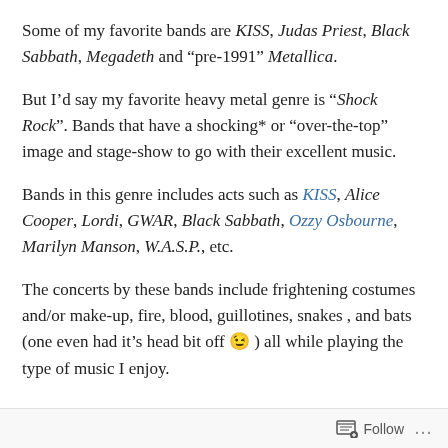Some of my favorite bands are KISS, Judas Priest, Black Sabbath, Megadeth and “pre-1991” Metallica.
But I’d say my favorite heavy metal genre is “Shock Rock”. Bands that have a shocking* or “over-the-top” image and stage-show to go with their excellent music.
Bands in this genre includes acts such as KISS, Alice Cooper, Lordi, GWAR, Black Sabbath, Ozzy Osbourne, Marilyn Manson, W.A.S.P., etc.
The concerts by these bands include frightening costumes and/or make-up, fire, blood, guillotines, snakes , and bats (one even had it’s head bit off 😉 ) all while playing the type of music I enjoy.
Follow ...